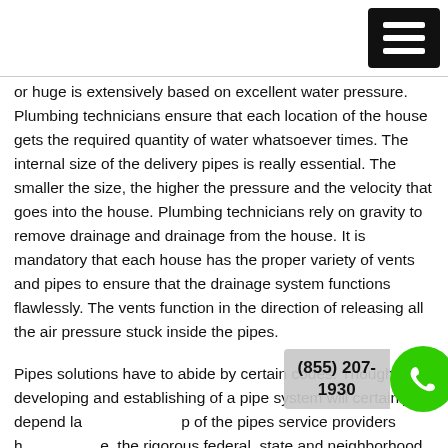[Figure (other): Hamburger menu icon (three white horizontal bars on black background) in top right corner]
or huge is extensively based on excellent water pressure. Plumbing technicians ensure that each location of the house gets the required quantity of water whatsoever times. The internal size of the delivery pipes is really essential. The smaller the size, the higher the pressure and the velocity that goes into the house. Plumbing technicians rely on gravity to remove drainage and drainage from the house. It is mandatory that each house has the proper variety of vents and pipes to ensure that the drainage system functions flawlessly. The vents function in the direction of releasing all the air pressure stuck inside the pipes.
Pipes solutions have to abide by certain codes. Though the developing and establishing of a pipe system will certainly depend largely on the abilities of the pipes service providers however they need to abide the rigorous federal, state and neighborhood codes.
[Figure (other): Phone call badge with number (855) 207-1930 and green circle with white phone icon]